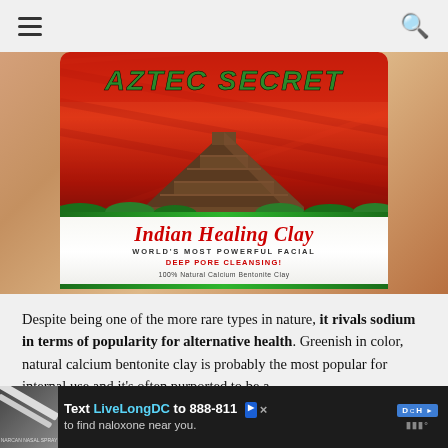≡  [navigation bar]  🔍
[Figure (photo): Photo of a hand holding a jar of Aztec Secret Indian Healing Clay, World's Most Powerful Facial Deep Pore Cleansing! 100% Natural Calcium Bentonite Clay. Red label with green Aztec pyramid graphic.]
Despite being one of the more rare types in nature, it rivals sodium in terms of popularity for alternative health. Greenish in color, natural calcium bentonite clay is probably the most popular for internal use and it's often purported to be a...
[Figure (screenshot): Advertisement banner: Text LiveLongDC to 888-811 to find naloxone near you. Dark background with ad icons and agency logos.]